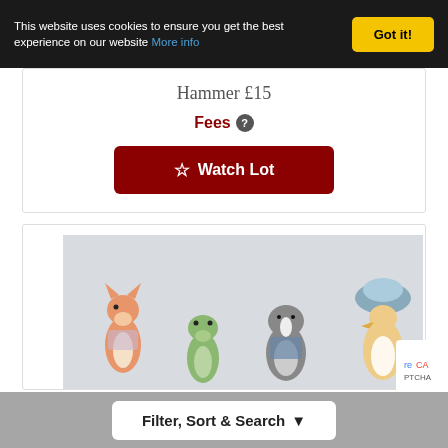This website uses cookies to ensure you get the best experience on our website More info
Got it!
Hammer £15
Fees ?
☆ Watch Lot
[Figure (photo): Photo of ceramic animal figurines including a fox, frog, badger, and duck/goose character, displayed against a light grey/white background. The figurines appear to be Beatrix Potter style ceramic characters.]
Filter, Sort & Search